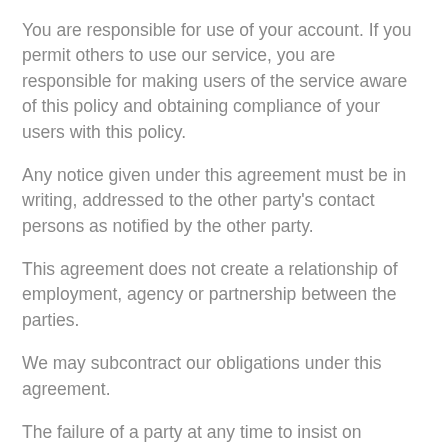You are responsible for use of your account. If you permit others to use our service, you are responsible for making users of the service aware of this policy and obtaining compliance of your users with this policy.
Any notice given under this agreement must be in writing, addressed to the other party’s contact persons as notified by the other party.
This agreement does not create a relationship of employment, agency or partnership between the parties.
We may subcontract our obligations under this agreement.
The failure of a party at any time to insist on performance by the other party of an obligation under this agreement is not a waiver of any of its rights.
If part or all of any of the provisions of this agreement